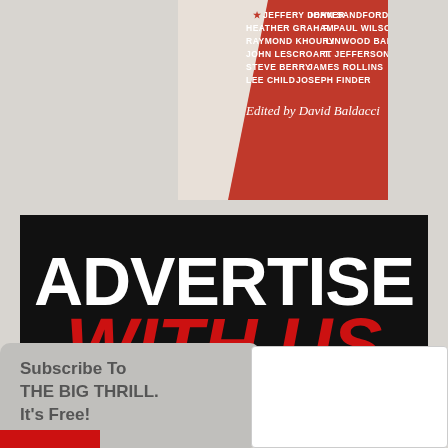[Figure (other): Book cover partially visible - red background with author names in white and red text, 'Edited by David Baldacci' at bottom]
[Figure (other): Advertisement banner on black background reading 'ADVERTISE WITH US' (WITH US in red) and 'OVER 200,000 UNIQUE PAGE VIEWS EVERY MONTH' in white]
Subscribe To THE BIG THRILL. It's Free!